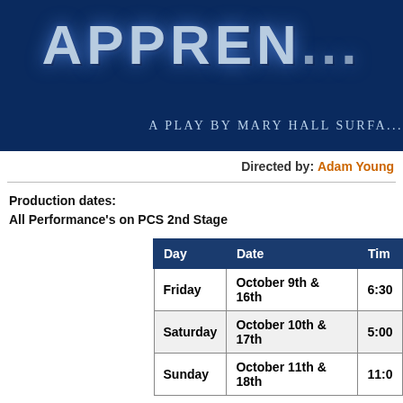[Figure (illustration): Dark blue banner image with large stylized text 'APPREN...' at top and subtitle 'A PLAY BY MARY HALL SURFA...' at bottom]
Directed by: Adam Young
Production dates:
All Performance's on PCS 2nd Stage
| Day | Date | Tim... |
| --- | --- | --- |
| Friday | October 9th & 16th | 6:30 |
| Saturday | October 10th & 17th | 5:00 |
| Sunday | October 11th & 18th | 11:0 |
Ticket Prices: Adults are $10.00 each and Children under 12 are $8.00, Cash a... and Under are Free. Anyone 3 or older needs to pay the general admission price. All Tickets are sold at the door, the day of the performance.